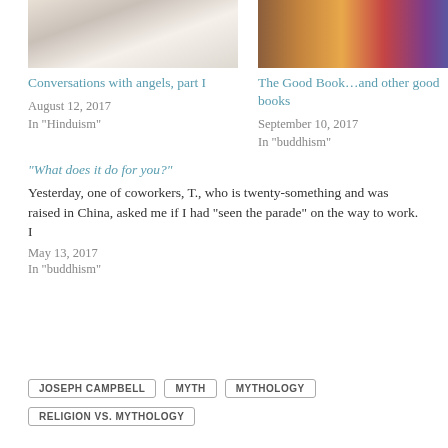[Figure (photo): Photo of an angel with wings and light feathers]
Conversations with angels, part I
August 12, 2017
In "Hinduism"
[Figure (photo): Photo of colorful book spines]
The Good Book…and other good books
September 10, 2017
In "buddhism"
"What does it do for you?"
Yesterday, one of coworkers, T., who is twenty-something and was raised in China, asked me if I had "seen the parade" on the way to work. I
May 13, 2017
In "buddhism"
JOSEPH CAMPBELL
MYTH
MYTHOLOGY
RELIGION VS. MYTHOLOGY